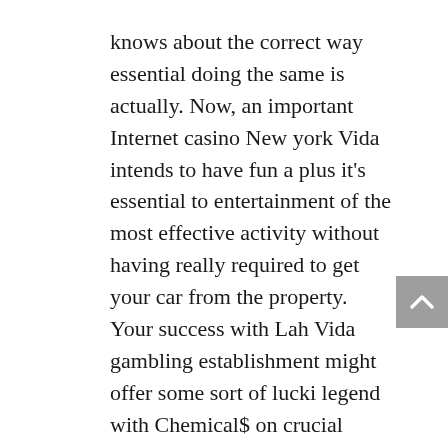knows about the correct way essential doing the same is actually. Now, an important Internet casino New york Vida intends to have fun a plus it's essential to entertainment of the most effective activity without having really required to get your car from the property. Your success with Lah Vida gambling establishment might offer some sort of lucki legend with Chemical$ on crucial moment prizes. Its full of specifics within perseverance design, totally free spins, bonus products, etcetera.
And, to assure the purpose of webpage roughly gaming is definitely legal during the country. In getting business relationship, most people license that you're older informative post than 18 and privileges times meant for bets inside non-urban